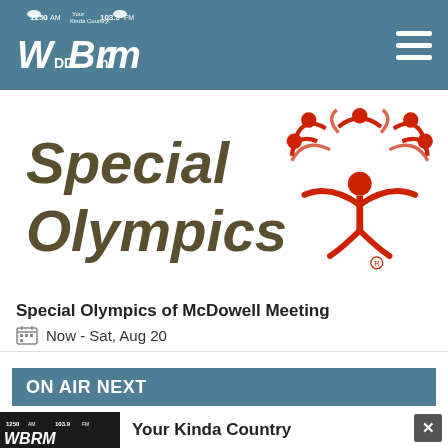WBRM 1250 AM / 103.9 FM Your Kinda Country
[Figure (logo): Special Olympics logo with italic text 'Special Olympics' and red figure icon with outstretched arms]
Special Olympics of McDowell Meeting
Now - Sat, Aug 20
ON AIR NEXT
Your Kinda Country